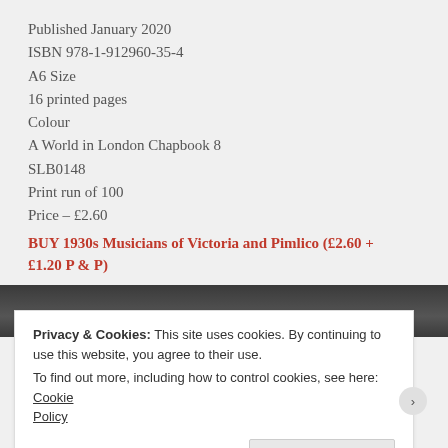Published January 2020
ISBN 978-1-912960-35-4
A6 Size
16 printed pages
Colour
A World in London Chapbook 8
SLB0148
Print run of 100
Price – £2.60
BUY 1930s Musicians of Victoria and Pimlico (£2.60 + £1.20 P & P)
[Figure (photo): Partial view of a dark photograph, mostly obscured by the cookie banner overlay]
Privacy & Cookies: This site uses cookies. By continuing to use this website, you agree to their use.
To find out more, including how to control cookies, see here: Cookie Policy
Close and accept